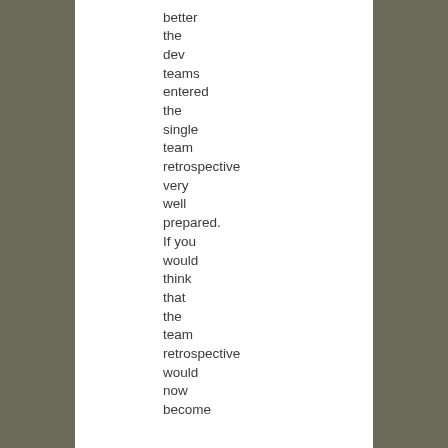better the dev teams entered the single team retrospective very well prepared. If you would think that the team retrospective would now become